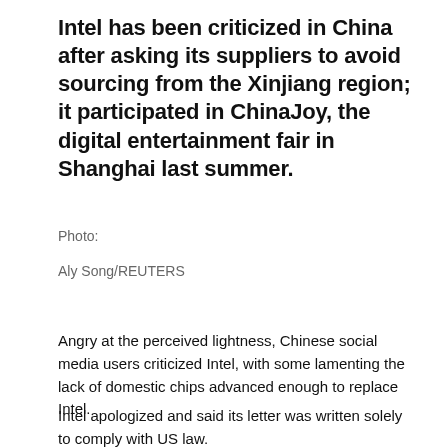Intel has been criticized in China after asking its suppliers to avoid sourcing from the Xinjiang region; it participated in ChinaJoy, the digital entertainment fair in Shanghai last summer.
Photo:
Aly Song/REUTERS
Angry at the perceived lightness, Chinese social media users criticized Intel, with some lamenting the lack of domestic chips advanced enough to replace Intel.
Intel apologized and said its letter was written solely to comply with US law.